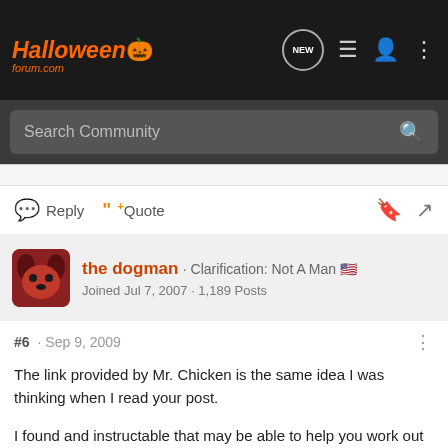HalloweenForum.com
Search Community
Reply  Quote
the dogman · Clarification: Not A Man 🇺🇸
Joined Jul 7, 2007 · 1,189 Posts
#6 · Sep 9, 2009
The link provided by Mr. Chicken is the same idea I was thinking when I read your post.

I found and instructable that may be able to help you work out how to make that style of hand using some bucky hands or something of the like.